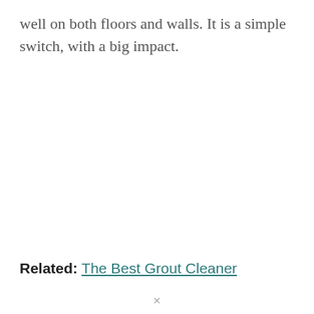well on both floors and walls. It is a simple switch, with a big impact.
Related: The Best Grout Cleaner